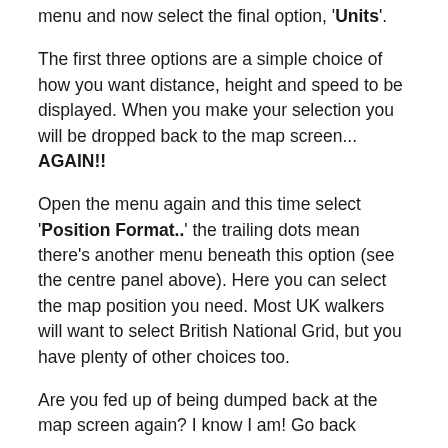menu and now select the final option, 'Units'.
The first three options are a simple choice of how you want distance, height and speed to be displayed. When you make your selection you will be dropped back to the map screen... AGAIN!!
Open the menu again and this time select 'Position Format..' the trailing dots mean there’s another menu beneath this option (see the centre panel above). Here you can select the map position you need. Most UK walkers will want to select British National Grid, but you have plenty of other choices too.
Are you fed up of being dumped back at the map screen again? I know I am! Go back